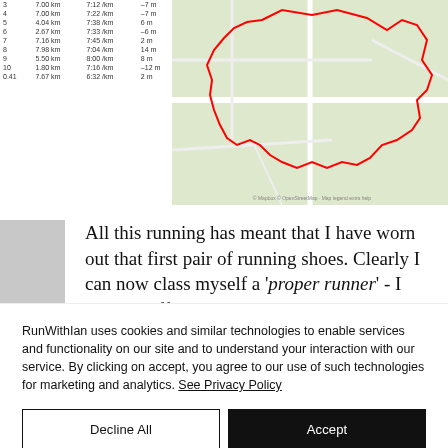[Figure (screenshot): Screenshot of a running activity page showing a split table on the left and a map with a red route outline on the right (green/beige map background).]
All this running has meant that I have worn out that first pair of running shoes. Clearly I can now class myself a 'proper runner' - I have an official event tee shirt as well as a worn out pair of running
RunWithIan uses cookies and similar technologies to enable services and functionality on our site and to understand your interaction with our service. By clicking on accept, you agree to our use of such technologies for marketing and analytics. See Privacy Policy
Decline All
Accept
Cookie Settings